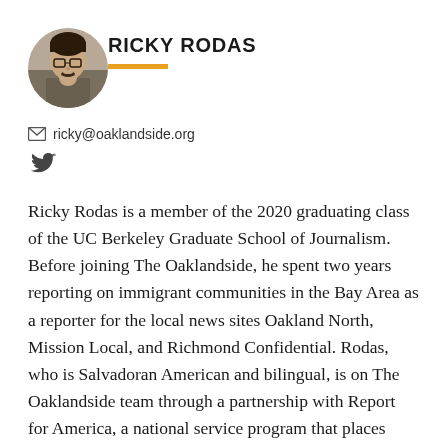[Figure (photo): Circular profile photo of Ricky Rodas, a young man wearing glasses and a gray shirt]
RICKY RODAS
ricky@oaklandside.org
[Figure (logo): Twitter bird icon]
Ricky Rodas is a member of the 2020 graduating class of the UC Berkeley Graduate School of Journalism. Before joining The Oaklandside, he spent two years reporting on immigrant communities in the Bay Area as a reporter for the local news sites Oakland North, Mission Local, and Richmond Confidential. Rodas, who is Salvadoran American and bilingual, is on The Oaklandside team through a partnership with Report for America, a national service program that places journalists